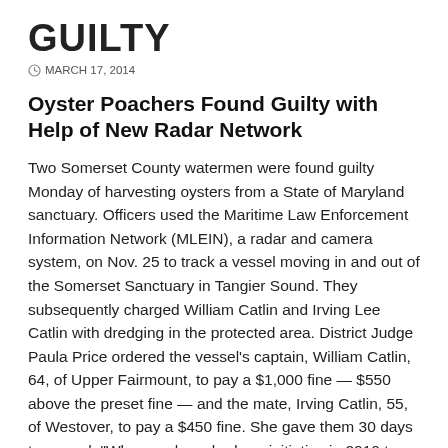GUILTY
MARCH 17, 2014
Oyster Poachers Found Guilty with Help of New Radar Network
Two Somerset County watermen were found guilty Monday of harvesting oysters from a State of Maryland sanctuary. Officers used the Maritime Law Enforcement Information Network (MLEIN), a radar and camera system, on Nov. 25 to track a vessel moving in and out of the Somerset Sanctuary in Tangier Sound. They subsequently charged William Catlin and Irving Lee Catlin with dredging in the protected area. District Judge Paula Price ordered the vessel's captain, William Catlin, 64, of Upper Fairmount, to pay a $1,000 fine — $550 above the preset fine — and the mate, Irving Catlin, 55, of Westover, to pay a $450 fine. She gave them 30 days to appeal. "When we launched our initiative in 2010 to restore Chesapeake Bay oysters, we included a tough conservation